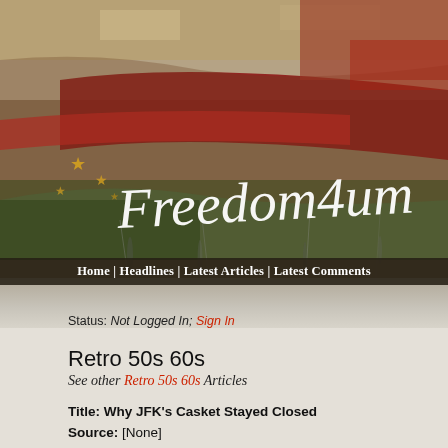[Figure (illustration): Freedom4um website header banner with distressed American flag artwork background in red, gold, green tones, featuring the 'Freedom4um' logo in white cursive/script font with gold stars]
Home | Headlines | Latest Articles | Latest Comments
Status: Not Logged In; Sign In
Retro 50s 60s
See other Retro 50s 60s Articles
Title: Why JFK's Casket Stayed Closed
Source: [None]
URL Source: https://www.youtube.com/watch?v=3Sh06VUiX
Published: Apr 22, 2022
Author: Ask a Mortician